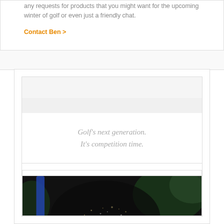any requests for products that you might want for the upcoming winter of golf or even just a friendly chat.
Contact Ben >
Golf's next generation. It's competition time.
[Figure (photo): Golfer hitting a bunker shot, sand spraying dramatically, dark background with green foliage visible]